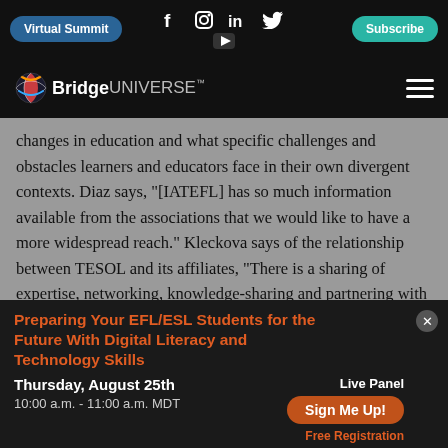Virtual Summit | f | ig | in | Twitter | Subscribe
[Figure (logo): BridgeUNIVERSE logo with colorful globe icon]
changes in education and what specific challenges and obstacles learners and educators face in their own divergent contexts. Diaz says, "[IATEFL] has so much information available from the associations that we would like to have a more widespread reach." Kleckova says of the relationship between TESOL and its affiliates, "There is a sharing of expertise, networking, knowledge-sharing and partnering with affiliates to organize regional events." Some ELT
Preparing Your EFL/ESL Students for the Future With Digital Literacy and Technology Skills
Thursday, August 25th
10:00 a.m. - 11:00 a.m. MDT
Live Panel
Sign Me Up!
Free Registration